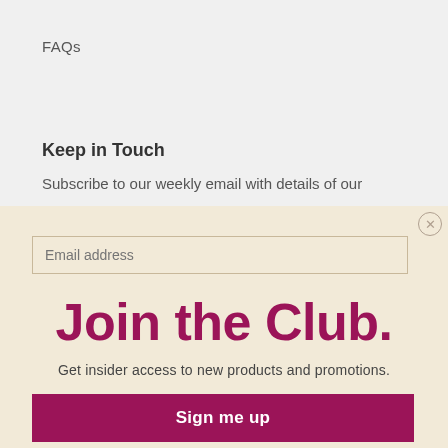FAQs
Keep in Touch
Subscribe to our weekly email with details of our
Email address
Join the Club.
Get insider access to new products and promotions.
Sign me up